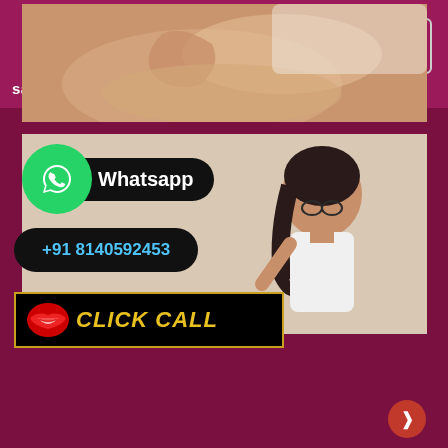[Figure (logo): Sapnokipari website logo with stylized face and leaf graphic]
sapnokipari
[Figure (photo): Close-up photo of a person's legs and hand, partial body view]
[Figure (photo): Photo of a woman with dark hair wearing glasses and a white top, looking downward]
Whatsapp
+91 8140592453
CLICK CALL